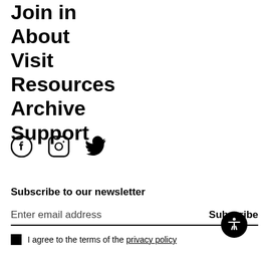Join in
About
Visit
Resources
Archive
Support
[Figure (infographic): Social media icons: Facebook, Instagram, Twitter]
Subscribe to our newsletter
Enter email address   Subscribe
I agree to the terms of the privacy policy